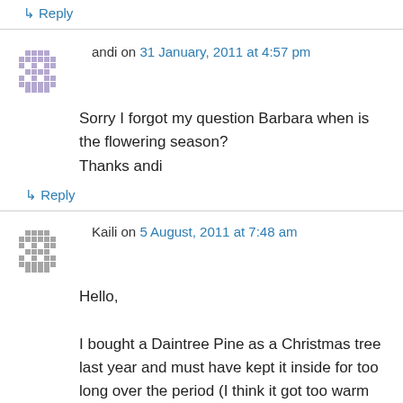↳ Reply
andi on 31 January, 2011 at 4:57 pm
Sorry I forgot my question Barbara when is the flowering season?
Thanks andi
↳ Reply
Kaili on 5 August, 2011 at 7:48 am
Hello,

I bought a Daintree Pine as a Christmas tree last year and must have kept it inside for too long over the period (I think it got too warm and over